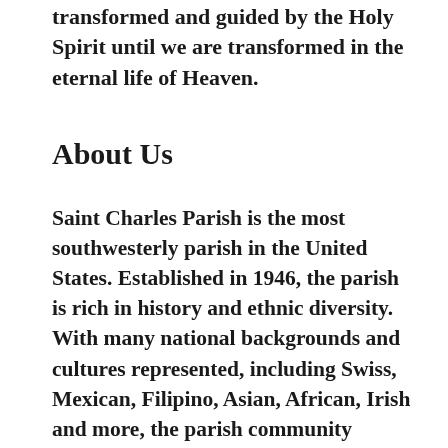transformed and guided by the Holy Spirit until we are transformed in the eternal life of Heaven.
About Us
Saint Charles Parish is the most southwesterly parish in the United States. Established in 1946, the parish is rich in history and ethnic diversity. With many national backgrounds and cultures represented, including Swiss, Mexican, Filipino, Asian, African, Irish and more, the parish community welcomes everyone and invites them to celebrate the unity of their Catholic faith.